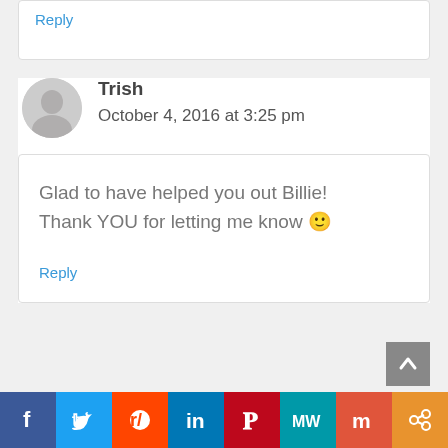Reply
Trish
October 4, 2016 at 3:25 pm
Glad to have helped you out Billie! Thank YOU for letting me know 🙂
Reply
[Figure (screenshot): Social media share bar with icons for Facebook, Twitter, Reddit, LinkedIn, Pinterest, MeWe, Mix, and a share button]